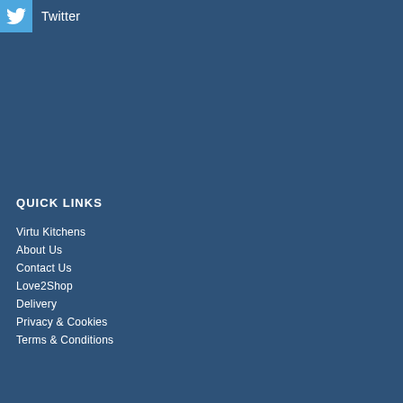[Figure (logo): Twitter bird icon in a light blue square box]
Twitter
QUICK LINKS
Virtu Kitchens
About Us
Contact Us
Love2Shop
Delivery
Privacy & Cookies
Terms & Conditions